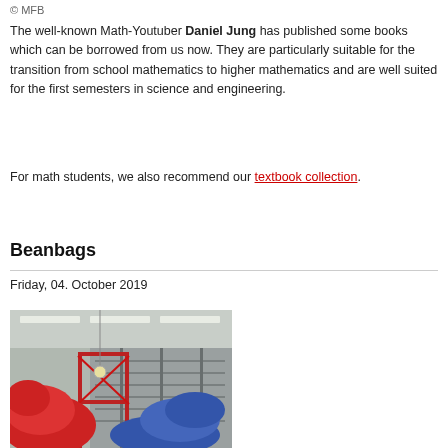© MFB
The well-known Math-Youtuber Daniel Jung has published some books which can be borrowed from us now. They are particularly suitable for the transition from school mathematics to higher mathematics and are well suited for the first semesters in science and engineering.
For math students, we also recommend our textbook collection.
Beanbags
Friday, 04. October 2019
[Figure (photo): Photo of large red and blue beanbags in a library or study space with overhead fluorescent lighting and shelving visible in the background.]